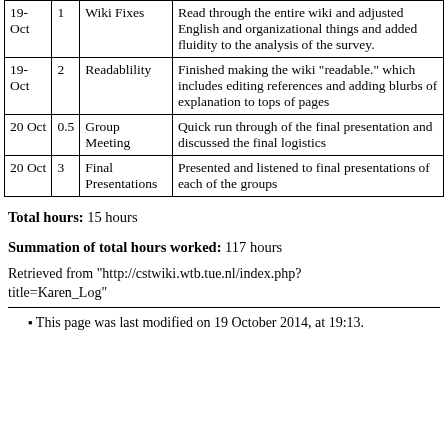| Date | Hours | Task | Description |
| --- | --- | --- | --- |
| 19-Oct | 1 | Wiki Fixes | Read through the entire wiki and adjusted English and organizational things and added fluidity to the analysis of the survey. |
| 19-Oct | 2 | Readablility | Finished making the wiki "readable." which includes editing references and adding blurbs of explanation to tops of pages |
| 20 Oct | 0.5 | Group Meeting | Quick run through of the final presentation and discussed the final logistics |
| 20 Oct | 3 | Final Presentations | Presented and listened to final presentations of each of the groups |
Total hours: 15 hours
Summation of total hours worked: 117 hours
Retrieved from "http://cstwiki.wtb.tue.nl/index.php?title=Karen_Log"
This page was last modified on 19 October 2014, at 19:13.